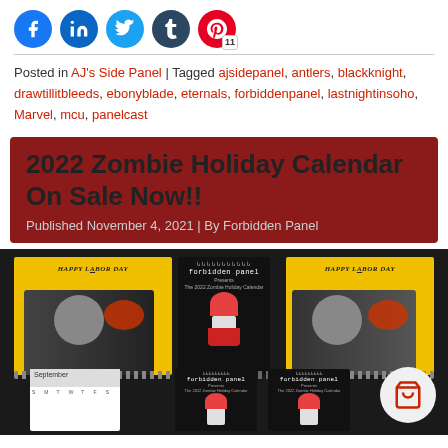[Figure (infographic): Social share icons: Facebook (blue circle), LinkedIn (blue circle), Twitter (blue circle), Tumblr (dark blue circle), Pinterest (red circle with badge number 11)]
Posted in AJ's Side Panel | Tagged ajsidepanel, antlers, blackknight, drawtillitbleeds, ebonyblade, eternals, forbiddenpanel, lastnightinsoho, Marvel, mcu, panelcast
2022 Zombie Holiday Calendar On Sale Now!!
Published November 4, 2021 | By Forbidden Panel
[Figure (photo): Photo of multiple 2022 Zombie Holiday Calendar by Forbidden Panel laid out on a dark surface, showing calendar covers with yellow background featuring zombie figures, and a 'Happy Labor Day' image with a man eating something bloody. A shopping cart icon overlay appears bottom right.]